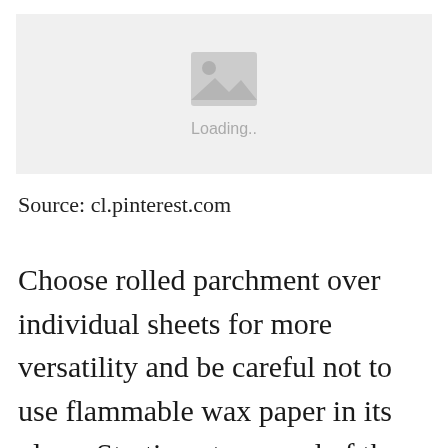[Figure (photo): Image loading placeholder with a grey mountain/photo icon and the text 'Loading..']
Source: cl.pinterest.com
Choose rolled parchment over individual sheets for more versatility and be careful not to use flammable wax paper in its place. Starting at one end of the parchment fold the edges of the paper over several times